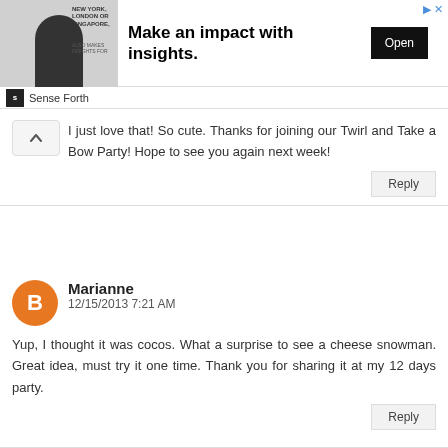[Figure (other): Advertisement banner: person image on left, text 'NEW YORK, LONDON OR SINGAPORE.' with 'Make an impact with insights.' headline, and 'Open' button on right. Sense Forth branding. Close X button top right.]
I just love that! So cute. Thanks for joining our Twirl and Take a Bow Party! Hope to see you again next week!
Reply
Marianne
12/15/2013 7:21 AM
Yup, I thought it was cocos. What a surprise to see a cheese snowman. Great idea, must try it one time. Thank you for sharing it at my 12 days party.
Reply